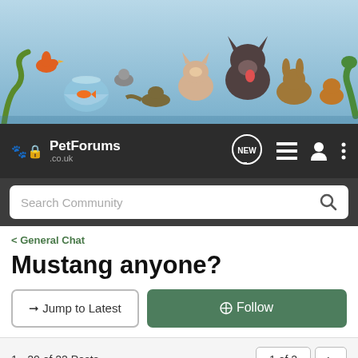[Figure (photo): Pet forum banner showing various animals including dogs, cats, birds, reptiles, rodents, and a fish bowl against a light background]
PetForums .co.uk — navigation bar with NEW, list, user, and menu icons, plus Search Community search bar
< General Chat
Mustang anyone?
→ Jump to Latest   ⊕ Follow
1 - 20 of 22 Posts   1 of 2 ▶
SLB · Registered 🇬🇧